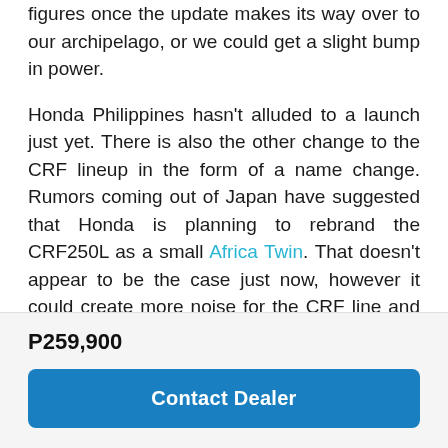figures once the update makes its way over to our archipelago, or we could get a slight bump in power.

Honda Philippines hasn't alluded to a launch just yet. There is also the other change to the CRF lineup in the form of a name change. Rumors coming out of Japan have suggested that Honda is planning to rebrand the CRF250L as a small Africa Twin. That doesn't appear to be the case just now, however it could create more noise for the CRF line and open the gates for more people who want a more branded or specialized adventure motorcycle. We'll just have to wait and see until the official launch of these two bikes from team red.
P259,900
Contact Dealer